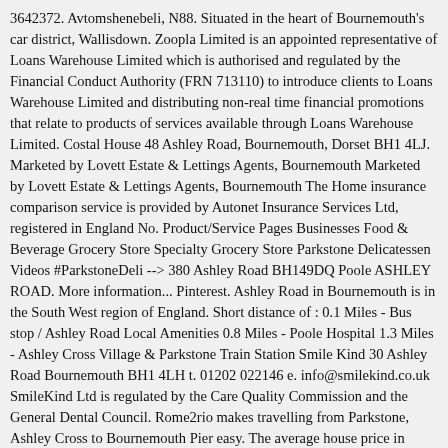3642372. Avtomshenebeli, N88. Situated in the heart of Bournemouth's car district, Wallisdown. Zoopla Limited is an appointed representative of Loans Warehouse Limited which is authorised and regulated by the Financial Conduct Authority (FRN 713110) to introduce clients to Loans Warehouse Limited and distributing non-real time financial promotions that relate to products of services available through Loans Warehouse Limited. Costal House 48 Ashley Road, Bournemouth, Dorset BH1 4LJ. Marketed by Lovett Estate & Lettings Agents, Bournemouth Marketed by Lovett Estate & Lettings Agents, Bournemouth The Home insurance comparison service is provided by Autonet Insurance Services Ltd, registered in England No. Product/Service Pages Businesses Food & Beverage Grocery Store Specialty Grocery Store Parkstone Delicatessen Videos #ParkstoneDeli --> 380 Ashley Road BH149DQ Poole ASHLEY ROAD. More information... Pinterest. Ashley Road in Bournemouth is in the South West region of England. Short distance of : 0.1 Miles - Bus stop / Ashley Road Local Amenities 0.8 Miles - Poole Hospital 1.3 Miles - Ashley Cross Village & Parkstone Train Station Smile Kind 30 Ashley Road Bournemouth BH1 4LH t. 01202 022146 e. info@smilekind.co.uk SmileKind Ltd is regulated by the Care Quality Commission and the General Dental Council. Rome2rio makes travelling from Parkstone, Ashley Cross to Bournemouth Pier easy. The average house price in